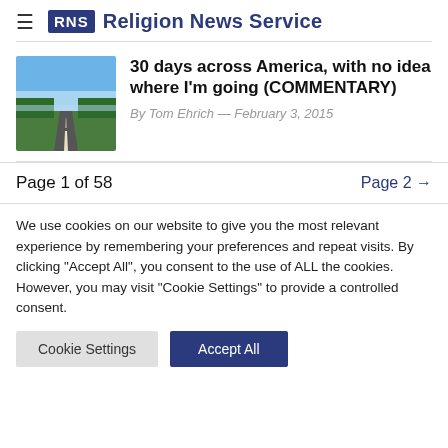RNS Religion News Service
[Figure (photo): Thumbnail photo of a straight road through a green landscape with blue sky]
30 days across America, with no idea where I'm going (COMMENTARY)
By Tom Ehrich — February 3, 2015
Page 1 of 58
Page 2 →
We use cookies on our website to give you the most relevant experience by remembering your preferences and repeat visits. By clicking "Accept All", you consent to the use of ALL the cookies. However, you may visit "Cookie Settings" to provide a controlled consent.
Cookie Settings
Accept All